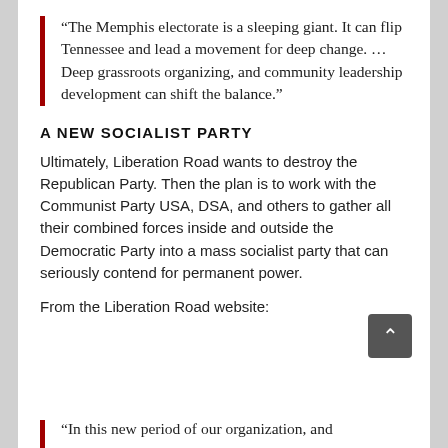“The Memphis electorate is a sleeping giant. It can flip Tennessee and lead a movement for deep change. … Deep grassroots organizing, and community leadership development can shift the balance.”
A NEW SOCIALIST PARTY
Ultimately, Liberation Road wants to destroy the Republican Party. Then the plan is to work with the Communist Party USA, DSA, and others to gather all their combined forces inside and outside the Democratic Party into a mass socialist party that can seriously contend for permanent power.
From the Liberation Road website:
“In this new period of our organization, and